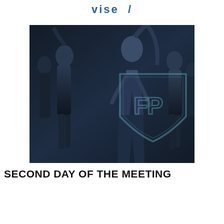vise /
[Figure (photo): Dark-toned photo of several young women/dancers backstage or at an event, with a watermark shield logo with 'FP' letters overlaid in the center]
SECOND DAY OF THE MEETING